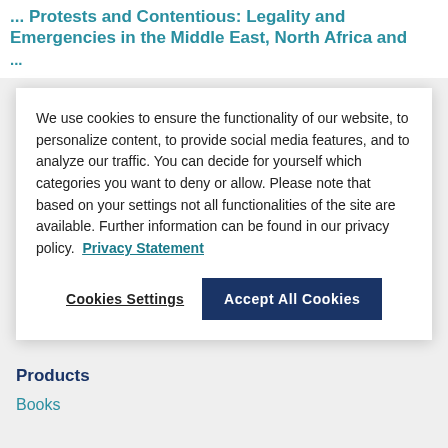... Protests and Contentious: Legality and Emergencies in the Middle East, North Africa and ...
We use cookies to ensure the functionality of our website, to personalize content, to provide social media features, and to analyze our traffic. You can decide for yourself which categories you want to deny or allow. Please note that based on your settings not all functionalities of the site are available. Further information can be found in our privacy policy.  Privacy Statement
Cookies Settings   Accept All Cookies
Page: 1 2 3 4 5 6 7
Products
Books